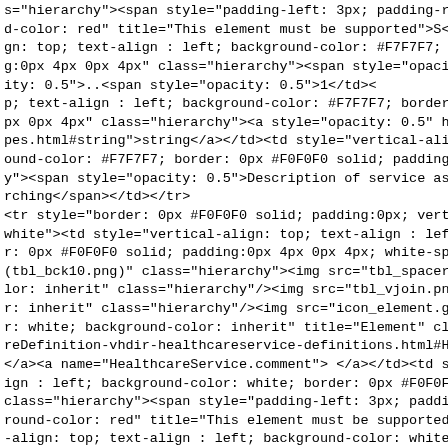s="hierarchy"><span style="padding-left: 3px; padding-right:
d-color: red" title="This element must be supported">S</span
gn: top; text-align : left; background-color: #F7F7F7; borde
g:0px 4px 0px 4px" class="hierarchy"><span style="opacity: 0
ity: 0.5">..</span><span style="opacity: 0.5">1</span></td><
p; text-align : left; background-color: #F7F7F7; border: 0px
px 0px 4px" class="hierarchy"><a style="opacity: 0.5" href=
pes.html#string">string</a></td><td style="vertical-align: t
ound-color: #F7F7F7; border: 0px #F0F0F0 solid; padding:0px
y"><span style="opacity: 0.5">Description of service as pres
rching</span></td></tr>
<tr style="border: 0px #F0F0F0 solid; padding:0px; vertical-
white"><td style="vertical-align: top; text-align : left; ba
r: 0px #F0F0F0 solid; padding:0px 4px 0px 4px; white-space:
(tbl_bck10.png)" class="hierarchy"><img src="tbl_spacer.png"
lor: inherit" class="hierarchy"/><img src="tbl_vjoin.png" al
r: inherit" class="hierarchy"/><img src="icon_element.gif" a
r: white; background-color: inherit" title="Element" class=
reDefinition-vhdir-healthcareservice-definitions.html#Health
</a><a name="HealthcareService.comment"> </a></td><td style=
ign : left; background-color: white; border: 0px #F0F0F0 sol
class="hierarchy"><span style="padding-left: 3px; padding-ri
round-color: red" title="This element must be supported">S</
-align: top; text-align : left; background-color: white; bor
ng:0px 4px 0px 4px" class="hierarchy"><span style="opacity:
city: 0.5">..</span><span style="opacity: 0.5">1</span></td>